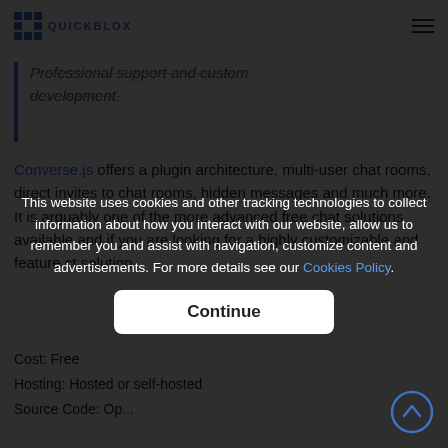QUICKBLOX
Professional support and custom development.
Converse.js offers a plugin architecture, multi-user chat rooms, direct invites to chat rooms, hidden messages and much more. It is arguably one of the more advanced free chat solutions available and if you are looking for a highly customizable and feature complete solution, Converse.js could be the right choice for your project.
Cost: Free
Hosting: Hosted or self-hosted
Source Code: Open source
This website uses cookies and other tracking technologies to collect information about how you interact with our website, allow us to remember you and assist with navigation, customize content and advertisements. For more details see our Cookies Policy.
Continue